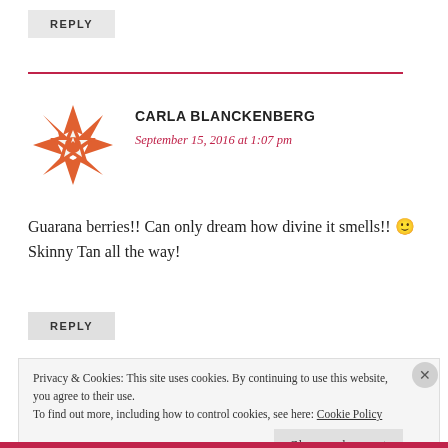REPLY
CARLA BLANCKENBERG
September 15, 2016 at 1:07 pm
[Figure (illustration): Orange geometric snowflake/star avatar icon for user Carla Blanckenberg]
Guarana berries!! Can only dream how divine it smells!! 🙂 Skinny Tan all the way!
REPLY
Privacy & Cookies: This site uses cookies. By continuing to use this website, you agree to their use.
To find out more, including how to control cookies, see here: Cookie Policy
Close and accept